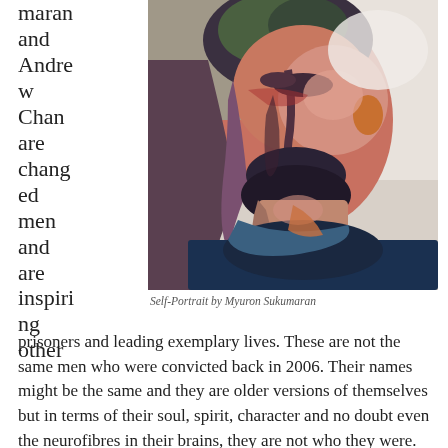maran and Andrew Chan are changed men and are inspiring other
[Figure (photo): A self-portrait painting in an expressionist style showing a man's face and upper body with bold brushstrokes in reds, blues, purples and dark tones against a light background.]
Self-Portrait by Myuron Sukumaran
prisoners and leading exemplary lives. These are not the same men who were convicted back in 2006. Their names might be the same and they are older versions of themselves but in terms of their soul, spirit, character and no doubt even the neurofibres in their brains, they are not who they were.